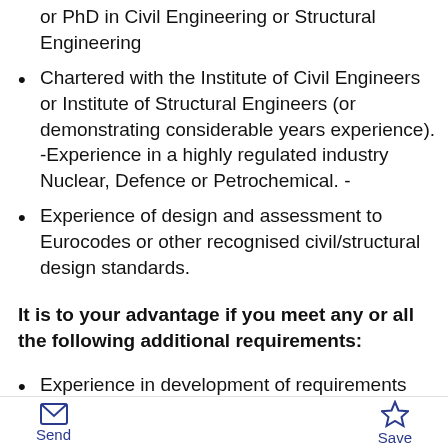or PhD in Civil Engineering or Structural Engineering
Chartered with the Institute of Civil Engineers or Institute of Structural Engineers (or demonstrating considerable years experience). -Experience in a highly regulated industry Nuclear, Defence or Petrochemical. -
Experience of design and assessment to Eurocodes or other recognised civil/structural design standards.
It is to your advantage if you meet any or all the following additional requirements:
Experience in development of requirements
Send  Save